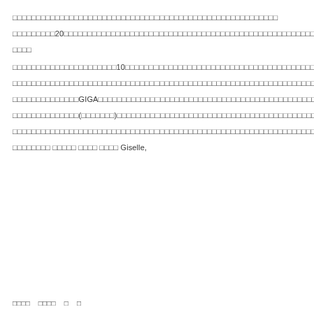□□□□□□□□□□□□□□□□□□□□□□□□□□□□□□□□□□□□□□□□□□□□□□□□□□□□□□□□
□□□□□□□□□20□□□□□□□□□□□□□□□□□□□□□□□□□□□□□□□□□□□□□□□□□□□□□□□□□□□□□□□□□□□□□□□□□□□□□□□□□□□□□□□□□□□□□□□□□□□□□□□□□□□□□□□□□□□□
□□□□
□□□□□□□□□□□□□□□□□□□□□□10□□□□□□□□□□□□□□□□□□□□□□□□□□□□□□□□□□□□□□□□□□□□□□□□□□□□□□□□□□□□□□□4□□□□□□□□□□□□
□□□□□□□□□□□□□□□□□□□□□□□□□□□□□□□□□□□□□□□□□□□□□□□□□□□□□□□□□□□□□□□□□□□□□□□□□□□□□□□□□□□□□□□□□□□□□□□□□□□□□□□□□□□□□□□□□□□□□□□□□□
□□□□□□□□□□□□□□GIGA□□□□□□□□□□□□□□□□□□□□□□□□□□□□□□□□□□□□□□□□□□□□□□□□□□□□□□□□□□□□□□□□□□□□□□□□□□□□□□□□□□□□□□□□□□□□□□□□□□□□□□□
□□□□□□□□□□□□□□(□□□□□□□)□□□□□□□□□□□□□□□□□□□□□□□□□□□□□□□□□□□□□□□□□□□□□□□□□□□□□□□□□□□□□□□□□□□□□□□□□□□□□□□□□□□□□□□□□□□□□□□□□□□□
□□□□□□□□□□□□□□□□□□□□□□□□□□□□□□□□□□□□□□□□□□□□□□□□□□□□□□□□□□□□□□□□□□□□□□□□□□□□□□□□□□□□□□□□□□□□□□□□□□□□□□□□□□□□□□□□□□□□□□□□□□□□□□□□□□
□□□□□□□□ □□□□□ □□□□ □□□□ Giselle,
□□□□    □□□□    □    □